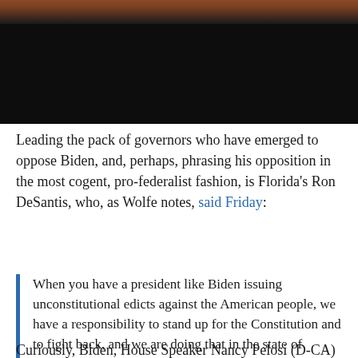[Figure (photo): Partial photo of a person against a brick wall background, mostly obscured by a dark/black overlay at the bottom]
Leading the pack of governors who have emerged to oppose Biden, and, perhaps, phrasing his opposition in the most cogent, pro-federalist fashion, is Florida's Ron DeSantis, who, as Wolfe notes, said Friday:
When you have a president like Biden issuing unconstitutional edicts against the American people, we have a responsibility to stand up for the Constitution and to fight back, and we are doing that in the state of Florida. This is a President who has acknowledged in the past he does not have the authority to force this on anybody, and this order would result potentially in millions of Americans losing their jobs.
Curiously, Biden, House Speaker Nancy Pelosi (D-CA)